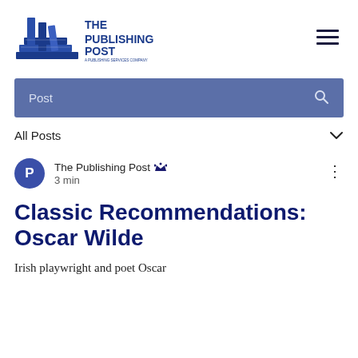THE PUBLISHING POST
[Figure (logo): The Publishing Post logo — stacked books icon with text 'THE PUBLISHING POST']
Post (search bar)
All Posts
The Publishing Post | 3 min
Classic Recommendations: Oscar Wilde
Irish playwright and poet Oscar